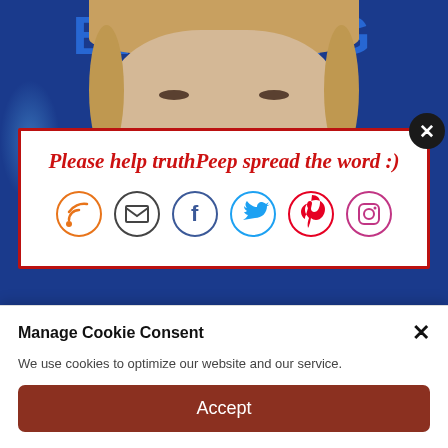[Figure (screenshot): Screenshot of a news website showing a photo of Hillary Clinton at a podium with a blue 'BREAKING' banner background, overlaid with a social sharing popup box and a cookie consent banner.]
Please help truthPeep spread the word :)
Mook, who was called to the stand by the defense team for former Clinton lawyer Michael Sussmann, was asked under cross-examination about the campaign's understanding of
Manage Cookie Consent
We use cookies to optimize our website and our service.
Accept